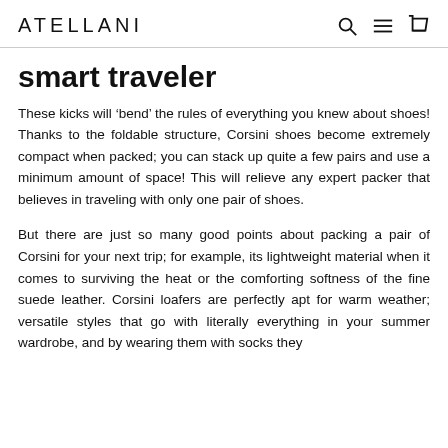ATELLANI
smart traveler
These kicks will ‘bend’ the rules of everything you knew about shoes! Thanks to the foldable structure, Corsini shoes become extremely compact when packed; you can stack up quite a few pairs and use a minimum amount of space! This will relieve any expert packer that believes in traveling with only one pair of shoes.
But there are just so many good points about packing a pair of Corsini for your next trip; for example, its lightweight material when it comes to surviving the heat or the comforting softness of the fine suede leather. Corsini loafers are perfectly apt for warm weather; versatile styles that go with literally everything in your summer wardrobe, and by wearing them with socks they